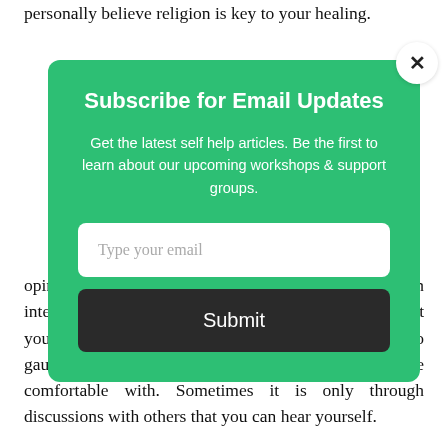personally believe religion is key to your healing.
[Figure (screenshot): Email subscription modal popup with green background. Contains title 'Subscribe for Email Updates', descriptive text, email input field with placeholder 'Type your email', and a dark Submit button. Has an X close button in the top-right corner.]
opinions. You will be introduced to new ways you can integrate your spirituality or religion into your life. Trust yourself that through these dialogues you will be able to gauge what feels right to you and what you are comfortable with. Sometimes it is only through discussions with others that you can hear yourself.